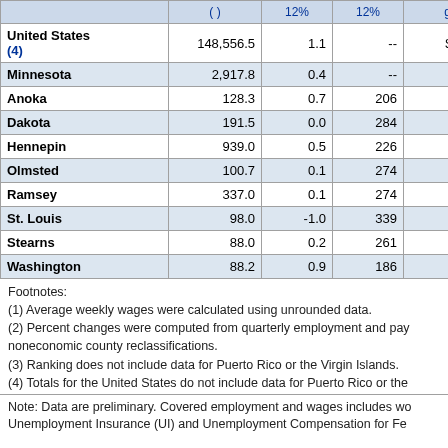| Area | (  ) | 12% | 12% | g | x |
| --- | --- | --- | --- | --- | --- |
| United States (4) | 148,556.5 | 1.1 | -- | $1,093 |  |
| Minnesota | 2,917.8 | 0.4 | -- | 1,107 |  |
| Anoka | 128.3 | 0.7 | 206 | 1,094 |  |
| Dakota | 191.5 | 0.0 | 284 | 1,057 |  |
| Hennepin | 939.0 | 0.5 | 226 | 1,322 |  |
| Olmsted | 100.7 | 0.1 | 274 | 1,279 |  |
| Ramsey | 337.0 | 0.1 | 274 | 1,196 |  |
| St. Louis | 98.0 | -1.0 | 339 | 915 |  |
| Stearns | 88.0 | 0.2 | 261 | 943 |  |
| Washington | 88.2 | 0.9 | 186 | 908 |  |
Footnotes:
(1) Average weekly wages were calculated using unrounded data.
(2) Percent changes were computed from quarterly employment and pay noneconomic county reclassifications.
(3) Ranking does not include data for Puerto Rico or the Virgin Islands.
(4) Totals for the United States do not include data for Puerto Rico or the
Note: Data are preliminary. Covered employment and wages includes wo Unemployment Insurance (UI) and Unemployment Compensation for Fe